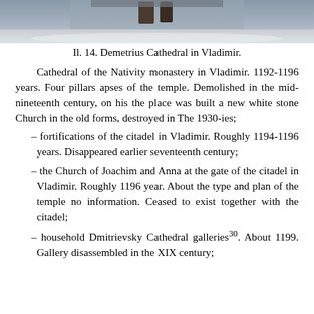[Figure (photo): Top portion of a photograph of Demetrius Cathedral in Vladimir, showing the upper facade and roof covered in snow with wintry surroundings.]
Il. 14. Demetrius Cathedral in Vladimir.
Cathedral of the Nativity monastery in Vladimir. 1192-1196 years. Four pillars apses of the temple. Demolished in the mid-nineteenth century, on his the place was built a new white stone Church in the old forms, destroyed in The 1930-ies;
– fortifications of the citadel in Vladimir. Roughly 1194-1196 years. Disappeared earlier seventeenth century;
– the Church of Joachim and Anna at the gate of the citadel in Vladimir. Roughly 1196 year. About the type and plan of the temple no information. Ceased to exist together with the citadel;
– household Dmitrievsky Cathedral galleries30. About 1199. Gallery disassembled in the XIX century;